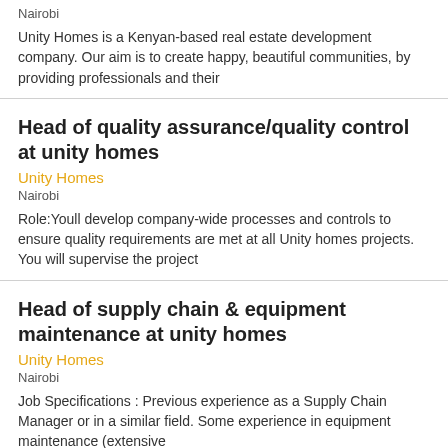Nairobi
Unity Homes is a Kenyan-based real estate development company. Our aim is to create happy, beautiful communities, by providing professionals and their
Head of quality assurance/quality control at unity homes
Unity Homes
Nairobi
Role:Youll develop company-wide processes and controls to ensure quality requirements are met at all Unity homes projects. You will supervise the project
Head of supply chain & equipment maintenance at unity homes
Unity Homes
Nairobi
Job Specifications : Previous experience as a Supply Chain Manager or in a similar field. Some experience in equipment maintenance (extensive
Head of quality assurance/quality control at unity homes
Unity Homes
Nairobi